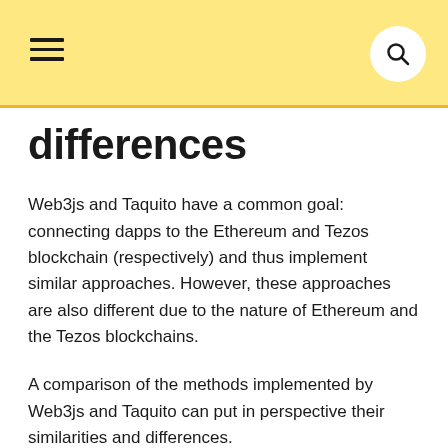differences
Web3js and Taquito have a common goal: connecting dapps to the Ethereum and Tezos blockchain (respectively) and thus implement similar approaches. However, these approaches are also different due to the nature of Ethereum and the Tezos blockchains.
A comparison of the methods implemented by Web3js and Taquito can put in perspective their similarities and differences.